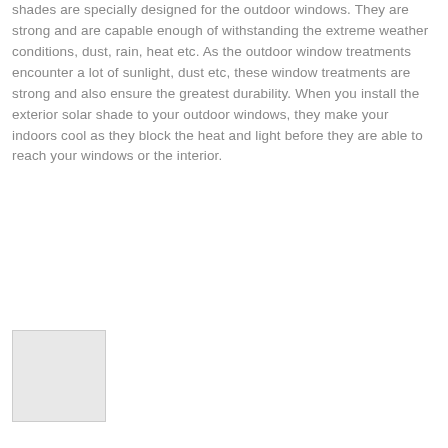shades are specially designed for the outdoor windows. They are strong and are capable enough of withstanding the extreme weather conditions, dust, rain, heat etc. As the outdoor window treatments encounter a lot of sunlight, dust etc, these window treatments are strong and also ensure the greatest durability. When you install the exterior solar shade to your outdoor windows, they make your indoors cool as they block the heat and light before they are able to reach your windows or the interior.
[Figure (photo): Partial image visible at bottom-left corner of page, mostly cropped out]